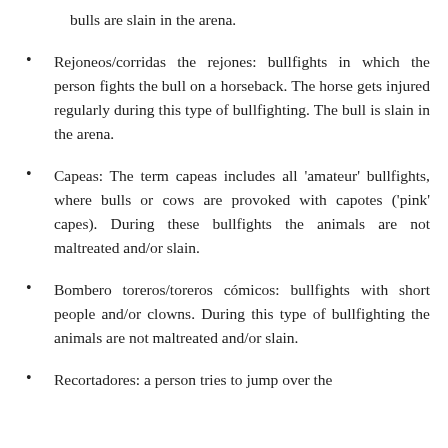bulls are slain in the arena.
Rejoneos/corridas the rejones: bullfights in which the person fights the bull on a horseback. The horse gets injured regularly during this type of bullfighting. The bull is slain in the arena.
Capeas: The term capeas includes all 'amateur' bullfights, where bulls or cows are provoked with capotes ('pink' capes). During these bullfights the animals are not maltreated and/or slain.
Bombero toreros/toreros cómicos: bullfights with short people and/or clowns. During this type of bullfighting the animals are not maltreated and/or slain.
Recortadores: a person tries to jump over the